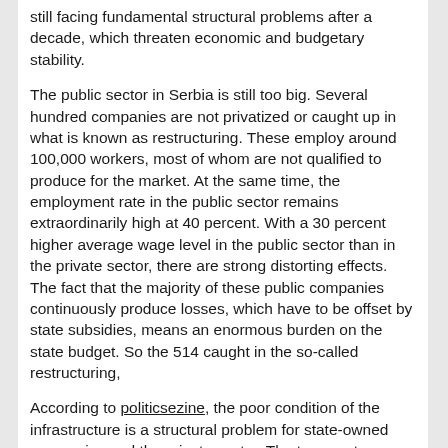still facing fundamental structural problems after a decade, which threaten economic and budgetary stability.
The public sector in Serbia is still too big. Several hundred companies are not privatized or caught up in what is known as restructuring. These employ around 100,000 workers, most of whom are not qualified to produce for the market. At the same time, the employment rate in the public sector remains extraordinarily high at 40 percent. With a 30 percent higher average wage level in the public sector than in the private sector, there are strong distorting effects. The fact that the majority of these public companies continuously produce losses, which have to be offset by state subsidies, means an enormous burden on the state budget. So the 514 caught in the so-called restructuring,
According to politicsezine, the poor condition of the infrastructure is a structural problem for state-owned companies and the private sector. The transport network is out of date, in particular the rail network and the road network have practically not been modernized for 20 years, and investment projects in renovation and expansion are